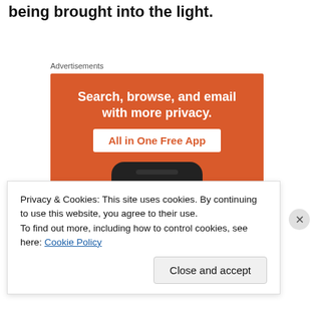being brought into the light.
Advertisements
[Figure (infographic): DuckDuckGo advertisement banner on orange background. Text reads: 'Search, browse, and email with more privacy. All in One Free App'. Shows a smartphone with the DuckDuckGo duck logo.]
Privacy & Cookies: This site uses cookies. By continuing to use this website, you agree to their use.
To find out more, including how to control cookies, see here: Cookie Policy
Close and accept